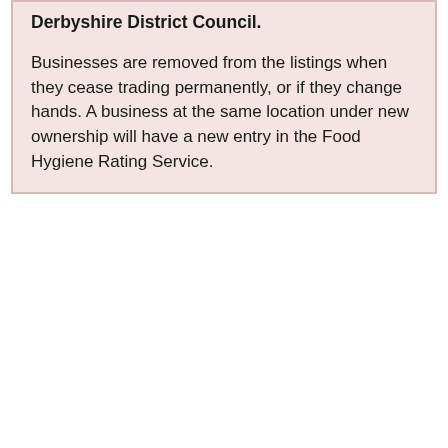Derbyshire District Council.
Businesses are removed from the listings when they cease trading permanently, or if they change hands. A business at the same location under new ownership will have a new entry in the Food Hygiene Rating Service.